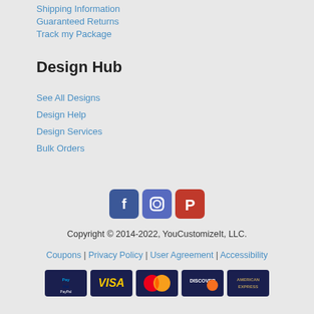Shipping Information
Guaranteed Returns
Track my Package
Design Hub
See All Designs
Design Help
Design Services
Bulk Orders
[Figure (infographic): Social media icons for Facebook, Instagram, and Pinterest]
Copyright © 2014-2022, YouCustomizeIt, LLC.
Coupons | Privacy Policy | User Agreement | Accessibility
[Figure (infographic): Payment method icons: PayPal, Visa, Mastercard, Discover, American Express]